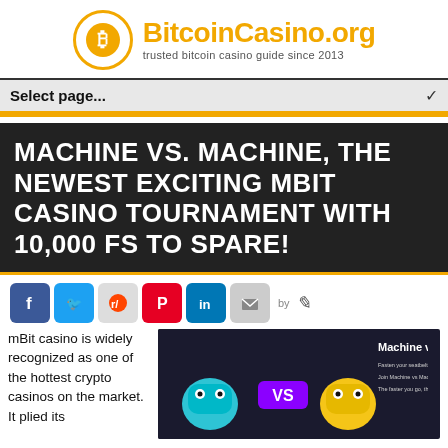[Figure (logo): BitcoinCasino.org logo with Bitcoin coin circle icon, site name in orange, tagline 'trusted bitcoin casino guide since 2013']
Select page...
MACHINE VS. MACHINE, THE NEWEST EXCITING MBIT CASINO TOURNAMENT WITH 10,000 FS TO SPARE!
[Figure (infographic): Social share icons row: Facebook, Twitter, Reddit, Pinterest, LinkedIn, Email, by [pen icon]]
mBit casino is widely recognized as one of the hottest crypto casinos on the market. It plied its
[Figure (screenshot): Machine vs Machine tournament promotional image showing cartoon slot machine characters with VS between them, text: Machine vs Machine, Fasten your seatbelt for a 10,000 FREE SPINS PRIZE POOL! Join Machine vs Machine and race to the top for a big share of the prize. The faster you go, the better chances you have of winning!]